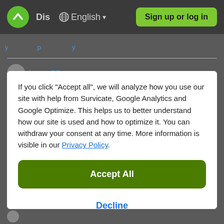[Figure (screenshot): Navigation bar with green logo, 'Dis' text, globe icon, English language selector with dropdown arrow, and green 'Sign up or log in' button on dark background]
If you click "Accept all", we will analyze how you use our site with help from Survicate, Google Analytics and Google Optimize. This helps us to better understand how our site is used and how to optimize it. You can withdraw your consent at any time. More information is visible in our Privacy Policy.
Accept All
Decline
Details